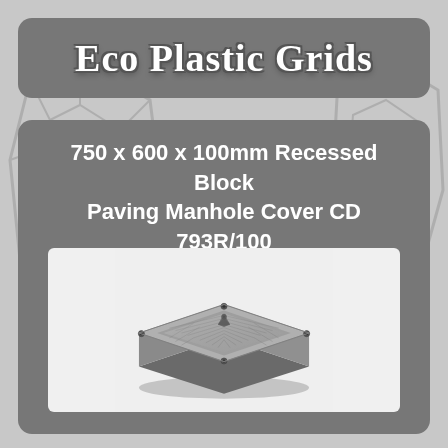Eco Plastic Grids
750 x 600 x 100mm Recessed Block Paving Manhole Cover CD 793R/100 Equivalent
[Figure (photo): Photo of a 750x600x100mm recessed block paving manhole cover, metallic grey, viewed from a 3/4 angle showing the square recessed tray with corner bolt holes and a central lifting point knob on top.]